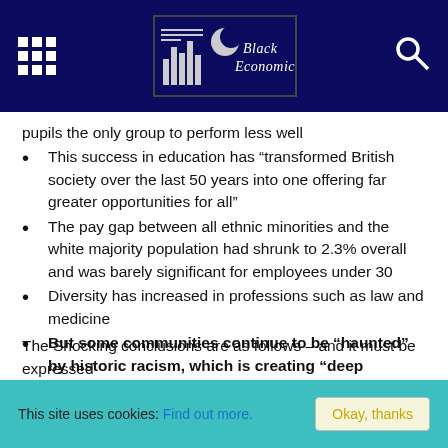Black Economics
pupils the only group to perform less well
This success in education has “transformed British society over the last 50 years into one offering far greater opportunities for all”
The pay gap between all ethnic minorities and the white majority population had shrunk to 2.3% overall and was barely significant for employees under 30
Diversity has increased in professions such as law and medicine
But some communities continue to be “haunted” by historic racism, which is creating “deep mistrust” and could be a barrier to success
The Shocking conclusions are as follows – and it must be expressed
This site uses cookies: Find out more. Okay, thanks